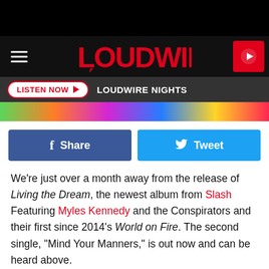[Figure (logo): Loudwire logo in red on black background header bar with hamburger menu and play button]
LISTEN NOW ▶  LOUDWIRE NIGHTS
[Figure (photo): Colorful music-themed banner image]
[Figure (infographic): Facebook Share button and Twitter Tweet button row]
We're just over a month away from the release of Living the Dream, the newest album from Slash Featuring Myles Kennedy and the Conspirators and their first since 2014's World on Fire. The second single, "Mind Your Manners," is out now and can be heard above.
It's a punchy cut rife with Slash's signature energetic riffing style and slick melodies from Kennedy. The chorus is